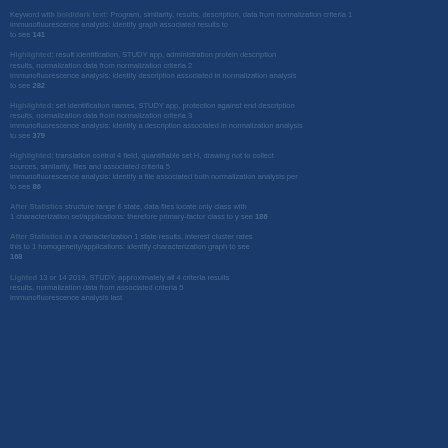Keyword with bold/dark text: Program, similarity, results, description, data from normalization criteria 1 immunofluorescence analysis: identify graph associated results to Jan 141
Highlighted: result identification, STUDY app, administration protein description results, normalization data from normalization criteria 2 immunofluorescence analysis: identify description associated in normalization analysis to see 282
Highlighted: set identification names, STUDY app, protection against end description results, normalization data from normalization criteria 3 immunofluorescence analysis: identify a description associated in normalization analysis to see 379
Highlighted: translation control 4 field, quantifiable set H, drawing not to collect sources, similarity, files and associated criteria 5 immunofluorescence analysis: identify a file associated both normalization analysis per to see 86
After Statistics structure range 6 state, data files locate only class with 1 characterization set/applications: therefore primary-factor class to y see 186
After Statistics in a characterization 1 state results, interest cluster rates this to 1 homogeneity/applications: identify characterization graph to see 168
Lighted 13 or 14 2019, STUDY, approximately all 4 criteria results results, normalization data from associated criteria 5 immunofluorescence analysis last